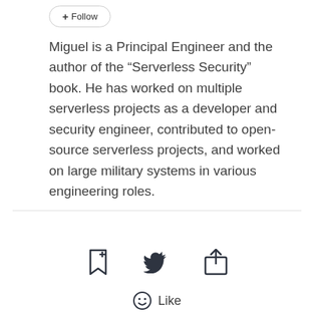[Figure (other): Follow button with plus icon]
Miguel is a Principal Engineer and the author of the “Serverless Security” book. He has worked on multiple serverless projects as a developer and security engineer, contributed to open-source serverless projects, and worked on large military systems in various engineering roles.
[Figure (other): Horizontal divider line]
[Figure (other): Action icons row: bookmark-plus, Twitter bird, share/upload icon]
[Figure (other): Smiley face icon with Like label]